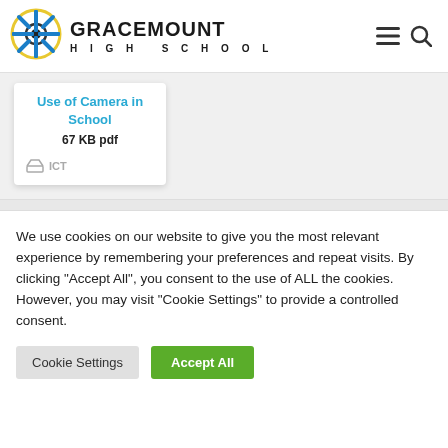GRACEMOUNT HIGH SCHOOL
[Figure (logo): Gracemount High School logo — compass-style circular icon with blue and yellow colors]
Use of Camera in School
67 KB pdf
ICT
We use cookies on our website to give you the most relevant experience by remembering your preferences and repeat visits. By clicking “Accept All”, you consent to the use of ALL the cookies. However, you may visit "Cookie Settings" to provide a controlled consent.
Cookie Settings    Accept All